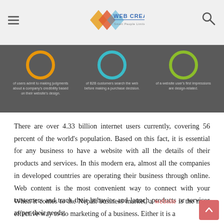Web Creation — header with logo, hamburger menu, and search icon
[Figure (infographic): Dark grey infographic banner showing three circles (orange, teal/blue, green) with descriptive text about web statistics: users judging company credibility based on website design, B2B customers searching the web before purchase decisions, and website users' first impressions being design-related.]
There are over 4.33 billion internet users currently, covering 56 percent of the world's population. Based on this fact, it is essential for any business to have a website with all the details of their products and services. In this modern era, almost all the companies in developed countries are operating their business through online. Web content is the most convenient way to connect with your customers and track their behavior and launch products or services as per their needs.
When it comes to the Nepali business market, a website is the most effective way to do marketing of a business. Either it is a